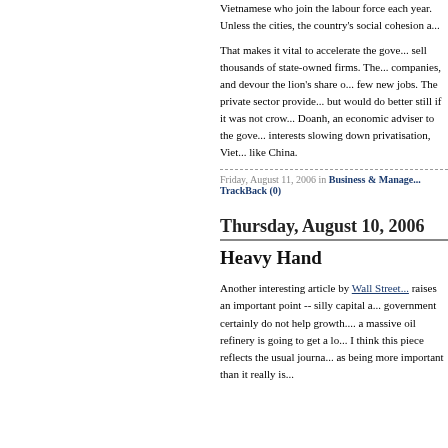Vietnamese who join the labour force each year. Unless the cities, the country's social cohesion a...
That makes it vital to accelerate the government's plan to sell thousands of state-owned firms. These companies, and devour the lion's share of credit, create few new jobs. The private sector provides most jobs, but would do better still if it was not crowded out. Le Doanh, an economic adviser to the government, sees interests slowing down privatisation, Vietnam will look like China.
Friday, August 11, 2006 in Business & Management | TrackBack (0)
Thursday, August 10, 2006
Heavy Hand
Another interesting article by Wall Street raises an important point -- silly capital allocations by government certainly do not help growth. Building a massive oil refinery is going to get a lot of ink. I think this piece reflects the usual journalistic bias as being more important than it really is...